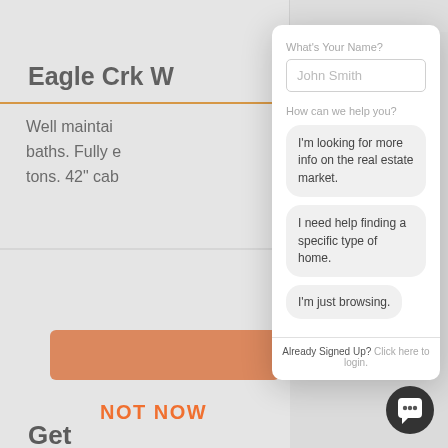Eagle Crk W
Well maintai baths. Fully e tons. 42" cab
Get
W
What's Your Name?
John Smith
How can we help you?
I'm looking for more info on the real estate market.
I need help finding a specific type of home.
I'm just browsing.
Already Signed Up?  Click here to login.
NOT NOW